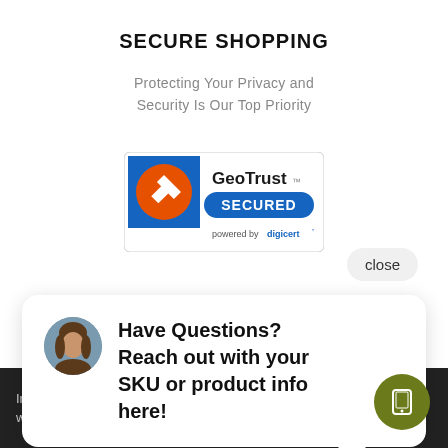SECURE SHOPPING
Protecting Your Privacy and Security Is Our Top Priority
[Figure (logo): GeoTrust SECURED powered by DigiCert badge - blue square with orange arrow icon and GeoTrust SECURED text]
close
Have Questions? Reach out with your SKU or product info here!
Impact Guns is the gun shop for all your shooting needs. We offer a wide selection of firearms, including: handguns, shotguns, rifles,